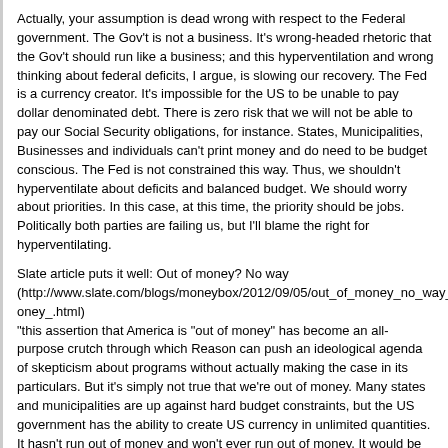Actually, your assumption is dead wrong with respect to the Federal government. The Gov't is not a business. It's wrong-headed rhetoric that the Gov't should run like a business; and this hyperventilation and wrong thinking about federal deficits, I argue, is slowing our recovery. The Fed is a currency creator. It's impossible for the US to be unable to pay dollar denominated debt. There is zero risk that we will not be able to pay our Social Security obligations, for instance. States, Municipalities, Businesses and individuals can't print money and do need to be budget conscious. The Fed is not constrained this way. Thus, we shouldn't hyperventilate about deficits and balanced budget. We should worry about priorities. In this case, at this time, the priority should be jobs. Politically both parties are failing us, but I'll blame the right for hyperventilating.
Slate article puts it well: Out of money? No way (http://www.slate.com/blogs/moneybox/2012/09/05/out_of_money_no_way_america_oney_.html) "this assertion that America is "out of money" has become an all-purpose crutch through which Reason can push an ideological agenda of skepticism about programs without actually making the case in its particulars. But it's simply not true that we're out of money. Many states and municipalities are up against hard budget constraints, but the US government has the ability to create US currency in unlimited quantities. It hasn't run out of money and won't ever run out of money. It would be nice for people to understand this point separately from controversies over whether public sector programs are wise or just. In principle, the US government could print up or borrow a ton of money, hand it to state governments, and then have all the money used to cut taxes rather than to finance programs. This would not be possible in a world where the US government faced a hard budget constraint but, fortunately, we don't face any such constraint. The possible downside to a policy of greater reliance on money-finance or debt-finance is that it might make holding dollar-denominated financial assets less attractive to foreigners. That, in turn, would make imported goods more expensive domestically and American-made goods cheaper on foreign markets. If the United States were already at full employment that would be a very bad tradeoff, amount to a decline in average American living standards. But at a time of mass unemployment, it looks like a pretty good tradeoff that should raise per capita output and average incomes."